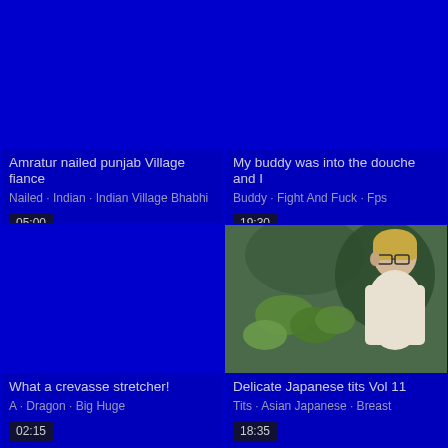[Figure (screenshot): Video thumbnail - blue background, top-left]
Amratur nailed punjab Village fiance
Nailed · Indian · Indian Village Bhabhi
05:00
[Figure (screenshot): Video thumbnail - blue background, top-right]
My buddy was into the douche and I
Buddy · Fight And Fuck · Fps
19:30
[Figure (screenshot): Video thumbnail - blue background, bottom-left]
What a crevasse stretcher!
A · Dragon · Big Huge
02:15
[Figure (screenshot): Video thumbnail - photo of person with glasses and plants, bottom-right]
Delicate Japanese tits Vol 11
Tits · Asian Japanese · Breast
18:35